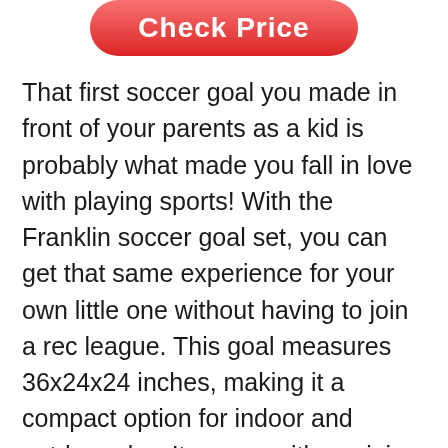[Figure (other): Red rounded button with white bold text reading 'Check Price']
That first soccer goal you made in front of your parents as a kid is probably what made you fall in love with playing sports! With the Franklin soccer goal set, you can get that same experience for your own little one without having to join a rec league. This goal measures 36x24x24 inches, making it a compact option for indoor and outdoor play. It comes with a mini-soccer ball as well as an inflation pump and needs, ensuring an easy start to playtime. When it's time to finish up for the day, the entire thing folds in on itself, making for super easy storage when space is tight.